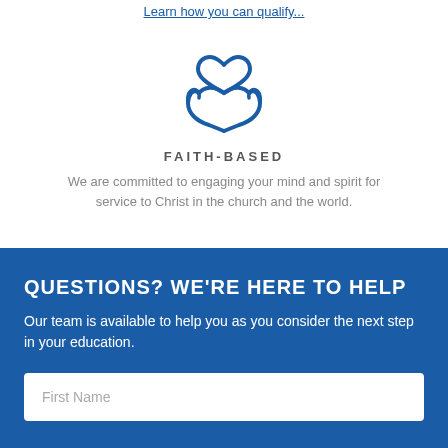Learn how you can qualify…
[Figure (illustration): Blue icon of two hands holding a heart, representing faith-based service]
FAITH-BASED
We are committed to engaging your mind and spirit for service to Christ in the church and the world.
QUESTIONS? WE'RE HERE TO HELP
Our team is available to help you as you consider the next step in your education.
First Name